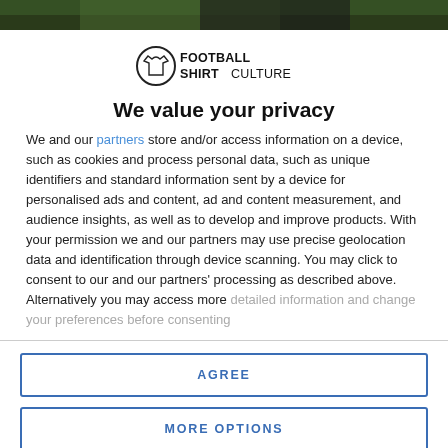[Figure (photo): Top portion of a partially visible image with dark green and black tones, appears to be a football shirt.]
[Figure (logo): Football Shirt Culture logo — circle icon with shirt graphic and bold text reading FOOTBALL SHIRTCULTURE]
We value your privacy
We and our partners store and/or access information on a device, such as cookies and process personal data, such as unique identifiers and standard information sent by a device for personalised ads and content, ad and content measurement, and audience insights, as well as to develop and improve products. With your permission we and our partners may use precise geolocation data and identification through device scanning. You may click to consent to our and our partners' processing as described above. Alternatively you may access more detailed information and change your preferences before consenting
AGREE
MORE OPTIONS
[Figure (photo): Bottom portion of a partially visible image, appears to be a person wearing a football shirt.]